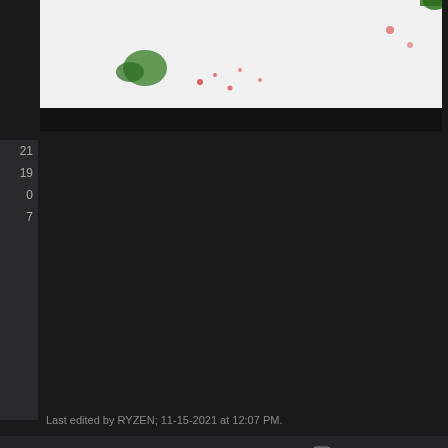[Figure (photo): Partial view of a figure or character on a white background, visible at top of page]
21
19
0
7
Last edited by RYZEN; 11-15-2021 at 12:07 PM.
Reply With Quote
... 232 282 322 330 331 332 333 334 342 ... Last
rowsing this thread. (0 members and 3 guests)
Top